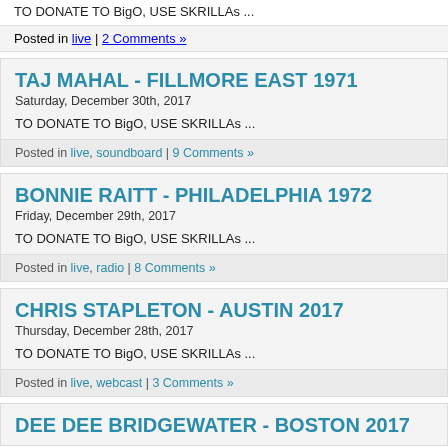TO DONATE TO BigO, USE SKRILLAs ...
Posted in live | 2 Comments »
TAJ MAHAL - FILLMORE EAST 1971
Saturday, December 30th, 2017
TO DONATE TO BigO, USE SKRILLAs ...
Posted in live, soundboard | 9 Comments »
BONNIE RAITT - PHILADELPHIA 1972
Friday, December 29th, 2017
TO DONATE TO BigO, USE SKRILLAs ...
Posted in live, radio | 8 Comments »
CHRIS STAPLETON - AUSTIN 2017
Thursday, December 28th, 2017
TO DONATE TO BigO, USE SKRILLAs ...
Posted in live, webcast | 3 Comments »
DEE DEE BRIDGEWATER - BOSTON 2017